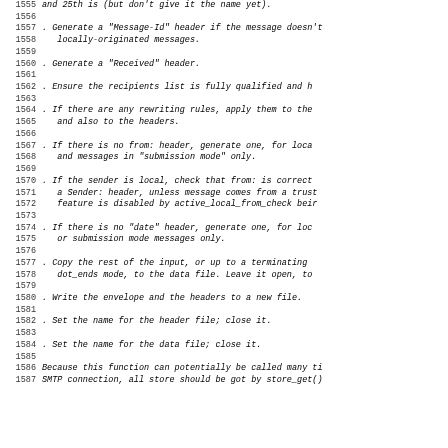1555  and 25th is (but don't give it the name yet).
1557  . Generate a "Message-Id" header if the message doesn't have one, for locally-originated messages.
1560  . Generate a "Received" header.
1562  . Ensure the recipients list is fully qualified and has no errors.
1564  . If there are any rewriting rules, apply them to the recipients list and also to the headers.
1567  . If there is no from: header, generate one, for locally-originated and messages in "submission mode" only.
1570  . If the sender is local, check that from: is correct, and generate a Sender: header, unless message comes from a trusted host. This feature is disabled by active_local_from_check being unset.
1574  . If there is no "date" header, generate one, for locally-originated or submission mode messages only.
1577  . Copy the rest of the input, or up to a terminating dot in dot_ends mode, to the data file. Leave it open, to be completed later.
1580  . Write the envelope and the headers to a new file.
1582  . Set the name for the header file; close it.
1584  . Set the name for the data file; close it.
1586 Because this function can potentially be called many times during a single SMTP connection, all store should be got by store_get().